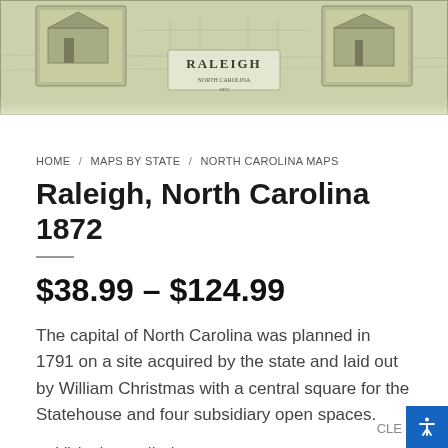[Figure (map): Antique bird's-eye view map of Raleigh, North Carolina labeled 'RALEIGH' in the center, with detailed illustration of the city layout in olive/green tones. Small vignette illustrations of buildings appear in the corners.]
HOME / MAPS BY STATE / NORTH CAROLINA MAPS
Raleigh, North Carolina 1872
$38.99 – $124.99
The capital of North Carolina was planned in 1791 on a site acquired by the state and laid out by William Christmas with a central square for the Statehouse and four subsidiary open spaces.
Published: 1872 || Size: 27" x 21"